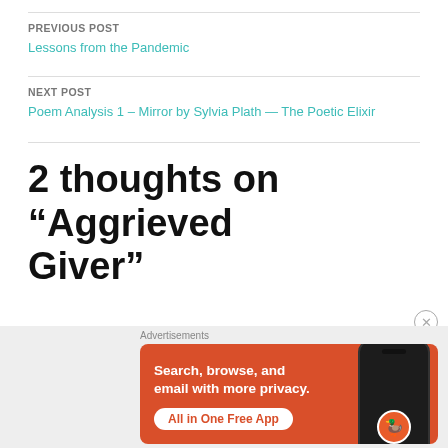PREVIOUS POST
Lessons from the Pandemic
NEXT POST
Poem Analysis 1 – Mirror by Sylvia Plath — The Poetic Elixir
2 thoughts on “Aggrieved Giver”
[Figure (screenshot): DuckDuckGo advertisement: orange background with white text 'Search, browse, and email with more privacy. All in One Free App', showing a smartphone mockup with DuckDuckGo logo]